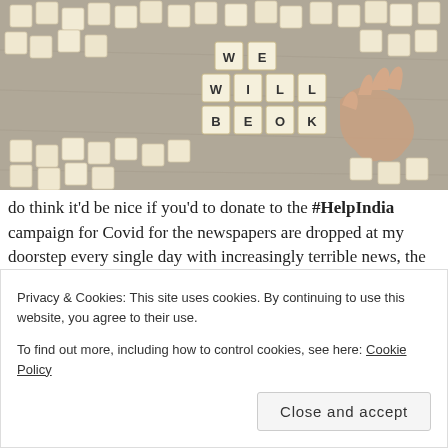[Figure (photo): A hand arranging Scrabble tiles on a map background. The tiles spell out 'WE WILL BE OK'. Many other tiles are scattered around.]
do think it'd be nice if you'd to donate to the #HelpIndia campaign for Covid for the newspapers are dropped at my doorstep every single day with increasingly terrible news, the space given to the
Privacy & Cookies: This site uses cookies. By continuing to use this website, you agree to their use.
To find out more, including how to control cookies, see here: Cookie Policy
Close and accept